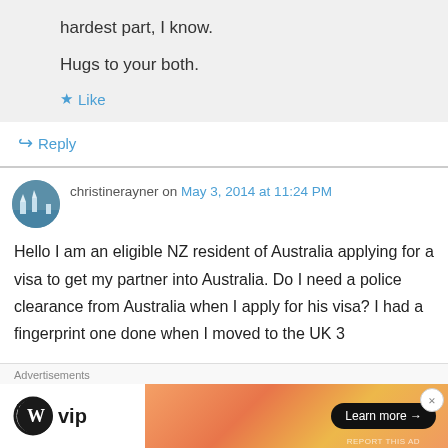hardest part, I know.
Hugs to your both.
Like
Reply
christinerayner on May 3, 2014 at 11:24 PM
Hello I am an eligible NZ resident of Australia applying for a visa to get my partner into Australia. Do I need a police clearance from Australia when I apply for his visa? I had a fingerprint one done when I moved to the UK 3
Advertisements
[Figure (logo): WordPress VIP logo - W circle icon with 'vip' text]
[Figure (screenshot): Advertisement banner with orange/coral gradient and Learn more button]